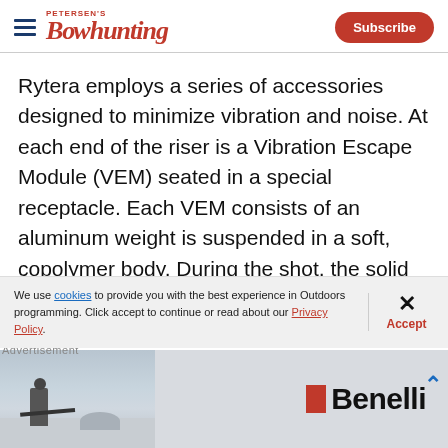Petersen's Bowhunting
Rytera employs a series of accessories designed to minimize vibration and noise. At each end of the riser is a Vibration Escape Module (VEM) seated in a special receptacle. Each VEM consists of an aluminum weight is suspended in a soft, copolymer body. During the shot, the solid weight moves within the soft module to counteract vibration.
We use cookies to provide you with the best experience in Outdoors programming. Click accept to continue or read about our Privacy Policy.
Advertisement
[Figure (photo): Benelli advertisement banner showing a person with a rifle in a snowy outdoor setting and the Benelli brand logo]